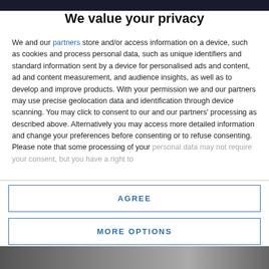We value your privacy
We and our partners store and/or access information on a device, such as cookies and process personal data, such as unique identifiers and standard information sent by a device for personalised ads and content, ad and content measurement, and audience insights, as well as to develop and improve products. With your permission we and our partners may use precise geolocation data and identification through device scanning. You may click to consent to our and our partners' processing as described above. Alternatively you may access more detailed information and change your preferences before consenting or to refuse consenting. Please note that some processing of your personal data may not require your consent, but you have a right to
AGREE
MORE OPTIONS
[Figure (photo): Bottom portion of a webpage photo partially visible]